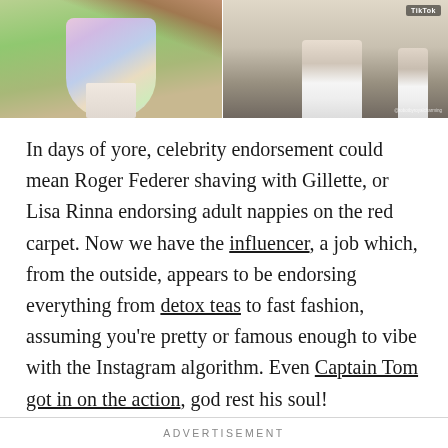[Figure (photo): Two-panel image: left panel shows a person wearing a colorful tie-dye mini dress/top outdoors with greenery; right panel shows a TikTok video still of someone's legs wearing white cowboy boots, with TikTok watermark in top right corner.]
In days of yore, celebrity endorsement could mean Roger Federer shaving with Gillette, or Lisa Rinna endorsing adult nappies on the red carpet. Now we have the influencer, a job which, from the outside, appears to be endorsing everything from detox teas to fast fashion, assuming you're pretty or famous enough to vibe with the Instagram algorithm. Even Captain Tom got in on the action, god rest his soul!
ADVERTISEMENT